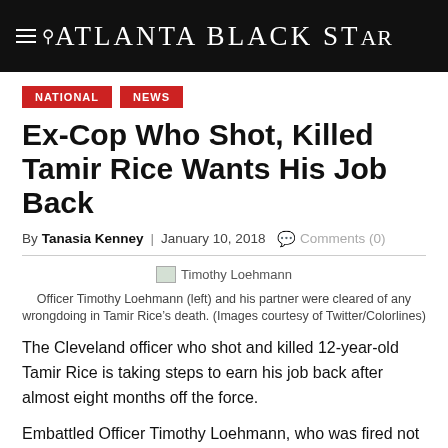Atlanta Black Star
NATIONAL  NEWS
Ex-Cop Who Shot, Killed Tamir Rice Wants His Job Back
By Tanasia Kenney | January 10, 2018  Comments (0)
[Figure (photo): Image placeholder for Timothy Loehmann photo]
Officer Timothy Loehmann (left) and his partner were cleared of any wrongdoing in Tamir Rice’s death. (Images courtesy of Twitter/Colorlines)
The Cleveland officer who shot and killed 12-year-old Tamir Rice is taking steps to earn his job back after almost eight months off the force.
Embattled Officer Timothy Loehmann, who was fired not for